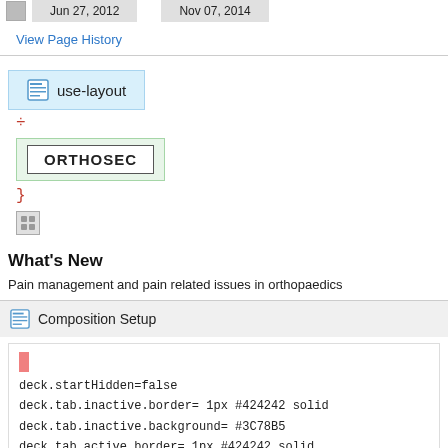|  | Jun 27, 2012 |  | Nov 07, 2014 |
| --- | --- | --- | --- |
|  |
View Page History
[Figure (screenshot): use-layout button with icon in blue box]
{
[Figure (screenshot): ORTHOSEC label in green bordered box]
}
[Figure (screenshot): Small grid icon]
What's New
Pain management and pain related issues in orthopaedics
Composition Setup
deck.startHidden=false
deck.tab.inactive.border= 1px #424242 solid
deck.tab.inactive.background= #3C78B5
deck.tab.active.border= 1px #424242 solid
deck.tab.active.background= #FFFFFF